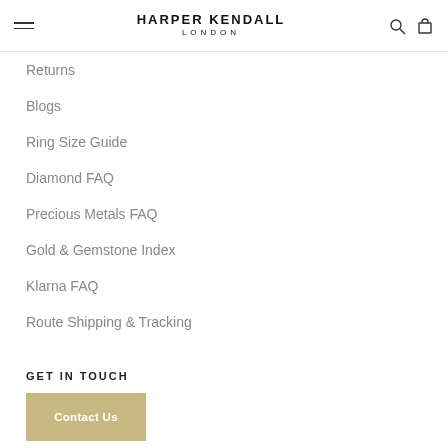HARPER KENDALL LONDON
Returns
Blogs
Ring Size Guide
Diamond FAQ
Precious Metals FAQ
Gold & Gemstone Index
Klarna FAQ
Route Shipping & Tracking
GET IN TOUCH
Contact Us